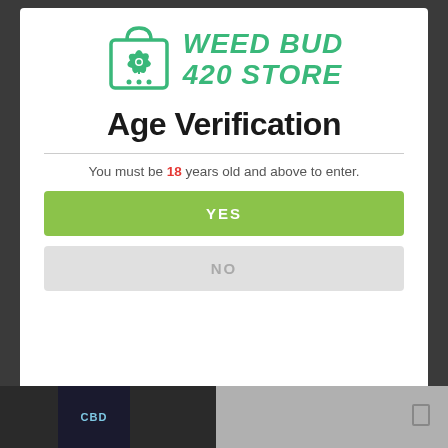[Figure (logo): Weed Bud 420 Store logo with cannabis leaf shopping bag icon and green italic bold text]
Age Verification
You must be 18 years old and above to enter.
YES
NO